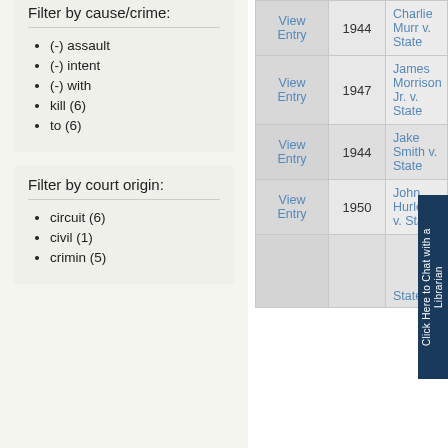Filter by cause/crime:
(-) assault
(-) intent
(-) with
kill (6)
to (6)
Filter by court origin:
circuit (6)
civil (1)
crimin (5)
| View | Year | Case Name |
| --- | --- | --- |
| View Entry | 1944 | Charlie Murr v. State |
| View Entry | 1947 | James Morrison Jr. v. State |
| View Entry | 1944 | Jake Smith v. State |
| View Entry | 1950 | John Hurley J v. State |
| View Entry |  | State v. |